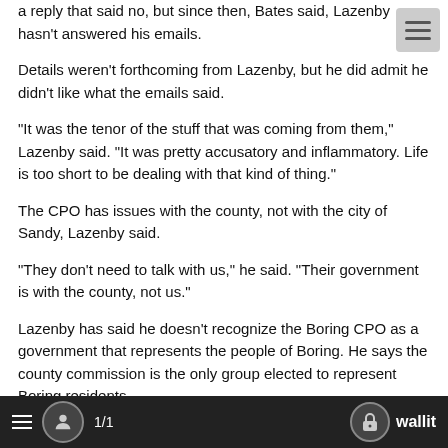a reply that said no, but since then, Bates said, Lazenby hasn't answered his emails.
Details weren't forthcoming from Lazenby, but he did admit he didn't like what the emails said.
“It was the tenor of the stuff that was coming from them,” Lazenby said. “It was pretty accusatory and inflammatory. Life is too short to be dealing with that kind of thing.”
The CPO has issues with the county, not with the city of Sandy, Lazenby said.
“They don’t need to talk with us,” he said. “Their government is with the county, not us.”
Lazenby has said he doesn’t recognize the Boring CPO as a government that represents the people of Boring. He says the county commission is the only group elected to represent Boring residents.
1/1  wallit